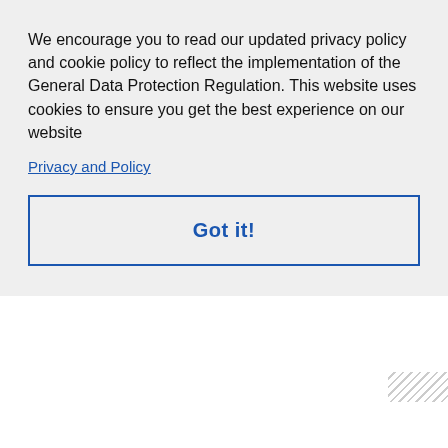BUILDRADICALS
Glenn Pierce
Glenn is our New York City
We encourage you to read our updated privacy policy and cookie policy to reflect the implementation of the General Data Protection Regulation. This website uses cookies to ensure you get the best experience on our website
Privacy and Policy
Got it!